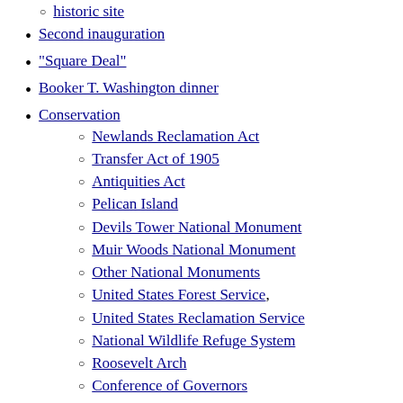historic site
Second inauguration
"Square Deal"
Booker T. Washington dinner
Conservation
Newlands Reclamation Act
Transfer Act of 1905
Antiquities Act
Pelican Island
Devils Tower National Monument
Muir Woods National Monument
Other National Monuments
United States Forest Service,
United States Reclamation Service
National Wildlife Refuge System
Roosevelt Arch
Conference of Governors
Northern Securities Company breakup
court case
Coal strike of 1902
Pure Food and Drug Act
Food and Drug Administration
Meat Inspection Act
Expediting Act
Elkins Act